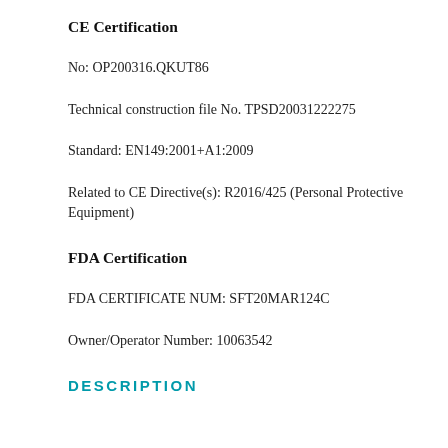CE Certification
No: OP200316.QKUT86
Technical construction file No. TPSD20031222275
Standard: EN149:2001+A1:2009
Related to CE Directive(s): R2016/425 (Personal Protective Equipment)
FDA Certification
FDA CERTIFICATE NUM: SFT20MAR124C
Owner/Operator Number: 10063542
DESCRIPTION